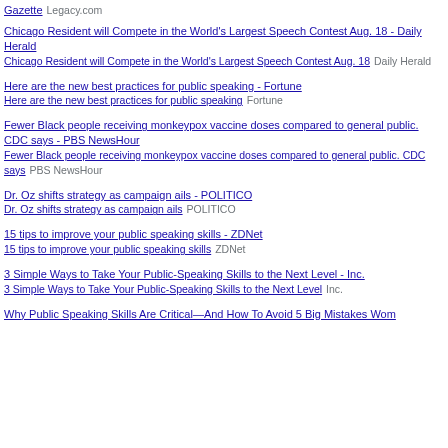Gazette  Legacy.com
Chicago Resident will Compete in the World's Largest Speech Contest Aug. 18 - Daily Herald
Chicago Resident will Compete in the World's Largest Speech Contest Aug. 18  Daily Herald
Here are the new best practices for public speaking - Fortune
Here are the new best practices for public speaking  Fortune
Fewer Black people receiving monkeypox vaccine doses compared to general public. CDC says - PBS NewsHour
Fewer Black people receiving monkeypox vaccine doses compared to general public. CDC says  PBS NewsHour
Dr. Oz shifts strategy as campaign ails - POLITICO
Dr. Oz shifts strategy as campaign ails  POLITICO
15 tips to improve your public speaking skills - ZDNet
15 tips to improve your public speaking skills  ZDNet
3 Simple Ways to Take Your Public-Speaking Skills to the Next Level - Inc.
3 Simple Ways to Take Your Public-Speaking Skills to the Next Level  Inc.
Why Public Speaking Skills Are Critical—And How To Avoid 5 Big Mistakes Wom